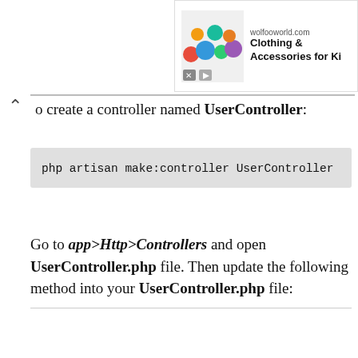[Figure (screenshot): Advertisement banner for wolfooworld.com showing Clothing & Accessories for Kids]
to create a controller named UserController:
php artisan make:controller UserController
Go to app>Http>Controllers and open UserController.php file. Then update the following method into your UserController.php file: